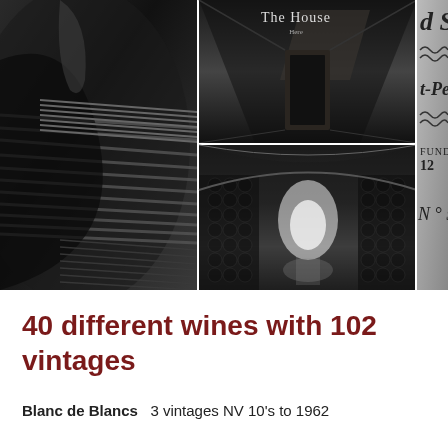[Figure (photo): Collage of four black-and-white photographs: large left image shows close-up of wicker/straw wrapping on a wine bottle; top center shows a dark corridor with 'The House' text overlay; top right shows a person standing outdoors; bottom center shows a long wine cellar tunnel with arched ceiling and bottles stacked on both sides; right column shows partial view of an engraved wine label with text 'd S', 't-Pern', 'FUNDÉE', '12', 'N° 57'.]
40 different wines with 102 vintages
Blanc de Blancs   3 vintages NV 10's to 1962